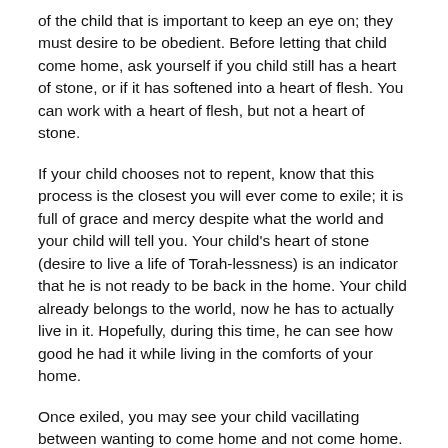of the child that is important to keep an eye on; they must desire to be obedient. Before letting that child come home, ask yourself if you child still has a heart of stone, or if it has softened into a heart of flesh. You can work with a heart of flesh, but not a heart of stone.
If your child chooses not to repent, know that this process is the closest you will ever come to exile; it is full of grace and mercy despite what the world and your child will tell you. Your child's heart of stone (desire to live a life of Torah-lessness) is an indicator that he is not ready to be back in the home. Your child already belongs to the world, now he has to actually live in it. Hopefully, during this time, he can see how good he had it while living in the comforts of your home.
Once exiled, you may see your child vacillating between wanting to come home and not come home. This is the pull between the comforts of home and the desire to live a life